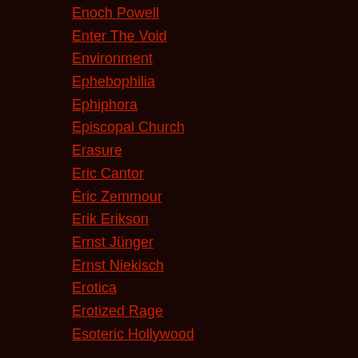Enoch Powell
Enter The Void
Environment
Ephebophilia
Ephiphora
Episcopal Church
Erasure
Eric Cantor
Éric Zemmour
Erik Erikson
Ernst Jünger
Ernst Niekisch
Erotica
Erotized Rage
Esoteric Hollywood